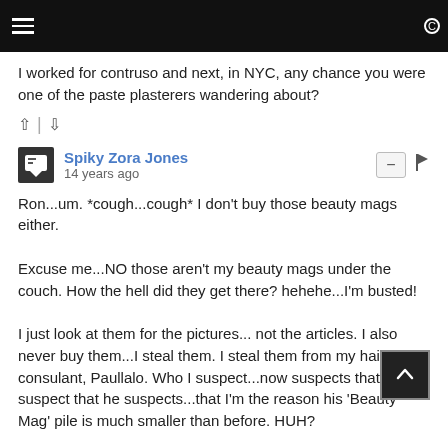I worked for contruso and next, in NYC, any chance you were one of the paste plasterers wandering about?
Spiky Zora Jones
14 years ago
Ron...um. *cough...cough* I don't buy those beauty mags either.

Excuse me...NO those aren't my beauty mags under the couch. How the hell did they get there? hehehe...I'm busted!

I just look at them for the pictures... not the articles. I also never buy them...I steal them. I steal them from my hair consulant, Paullalo. Who I suspect...now suspects that I suspect that he suspects...that I'm the reason his 'Beauty Mag' pile is much smaller than before. HUH?

Did I make sense there?